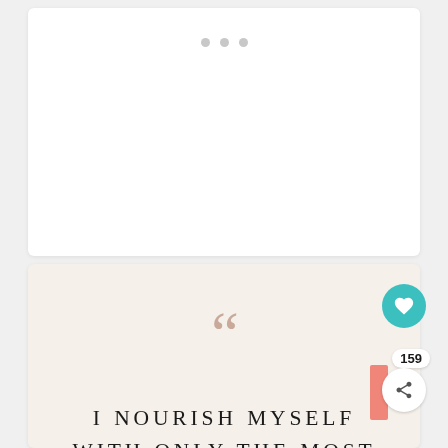[Figure (illustration): White card with three gray dots at top, loading/placeholder area]
[Figure (illustration): Cream/beige quote card with large decorative open-quote marks in muted rose color]
I NOURISH MYSELF WITH ONLY THE MOST HEALTHY AND POSITIVE THINGS THAT WILL HELP ME